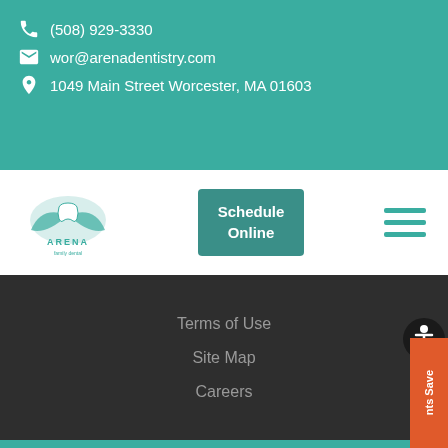(508) 929-3330
wor@arenadentistry.com
1049 Main Street Worcester, MA 01603
[Figure (logo): Arena Family Dental logo with tooth and swoosh in teal]
Schedule Online
Terms of Use
Site Map
Careers
© Arena Dentistry 2022 | All Rights Reserved | Privacy Practices. The material presented on this website is intended for information purposes only and is not intended as professional advice and should not be construed as such. Owned by Dr. Doshi & Associates, DMD. Arena Dentistry is a trademark of Arena Family Dentist LLC.